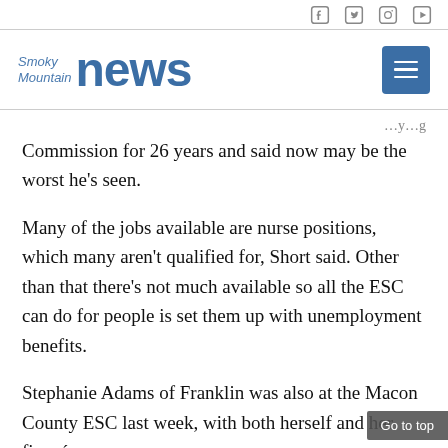[Social media icons: Facebook, Twitter, Instagram, YouTube]
[Figure (logo): Smoky Mountain News logo with blue menu button]
Commission for 26 years and said now may be the worst he's seen.
Many of the jobs available are nurse positions, which many aren't qualified for, Short said. Other than that there's not much available so all the ESC can do for people is set them up with unemployment benefits.
Stephanie Adams of Franklin was also at the Macon County ESC last week, with both herself and her fiancée